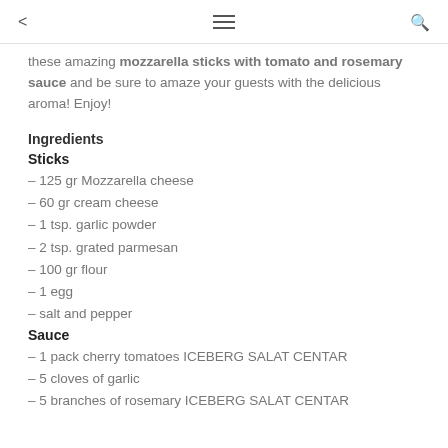share | menu | search
these amazing mozzarella sticks with tomato and rosemary sauce and be sure to amaze your guests with the delicious aroma! Enjoy!
Ingredients
Sticks
– 125 gr Mozzarella cheese
– 60 gr cream cheese
– 1 tsp. garlic powder
– 2 tsp. grated parmesan
– 100 gr flour
– 1 egg
– salt and pepper
Sauce
– 1 pack cherry tomatoes ICEBERG SALAT CENTAR
– 5 cloves of garlic
– 5 branches of rosemary ICEBERG SALAT CENTAR